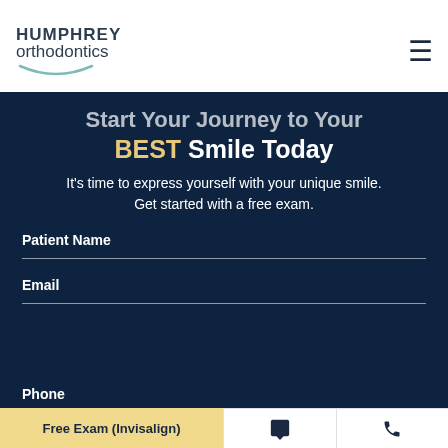HUMPHREY orthodontics
Start Your Journey to Your BEST Smile Today
It's time to express yourself with your unique smile. Get started with a free exam.
Patient Name
Email
Phone
Free Exam (Invisalign)